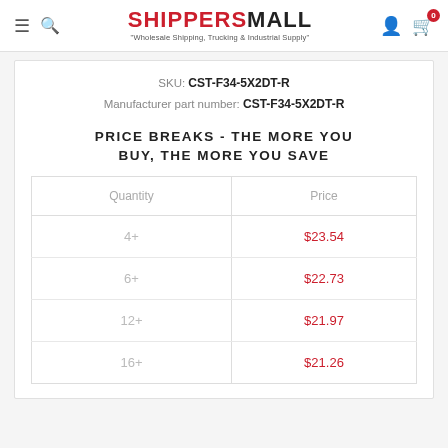SHIPPERSMALL - Wholesale Shipping, Trucking & Industrial Supply
SKU: CST-F34-5X2DT-R
Manufacturer part number: CST-F34-5X2DT-R
PRICE BREAKS - THE MORE YOU BUY, THE MORE YOU SAVE
| Quantity | Price |
| --- | --- |
| 4+ | $23.54 |
| 6+ | $22.73 |
| 12+ | $21.97 |
| 16+ | $21.26 |